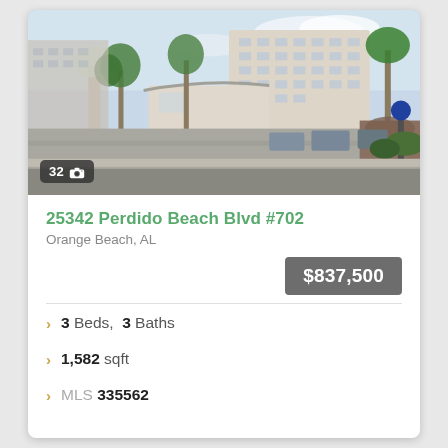[Figure (photo): Exterior photo of a multi-story condominium building with palm trees and a parking lot in the foreground. Photo count badge shows '32' with a camera icon.]
25342 Perdido Beach Blvd #702
Orange Beach, AL
$837,500
3 Beds,  3 Baths
1,582 sqft
MLS 335562